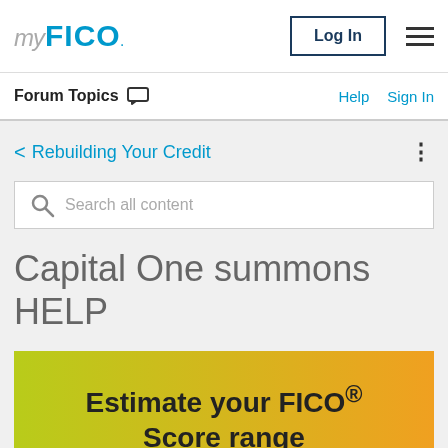myFICO
Forum Topics
Help  Sign In
< Rebuilding Your Credit
Search all content
Capital One summons HELP
[Figure (infographic): Yellow-orange gradient banner with bold text 'Estimate your FICO® Score range' and a teal 'Estimate for Free' button]